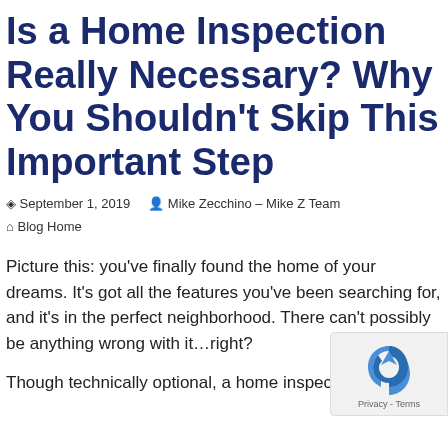Is a Home Inspection Really Necessary? Why You Shouldn't Skip This Important Step
September 1, 2019   Mike Zecchino - Mike Z Team
Blog Home
Picture this: you've finally found the home of your dreams. It's got all the features you've been searching for, and it's in the perfect neighborhood. There can't possibly be anything wrong with it…right?
Though technically optional, a home inspection is h...